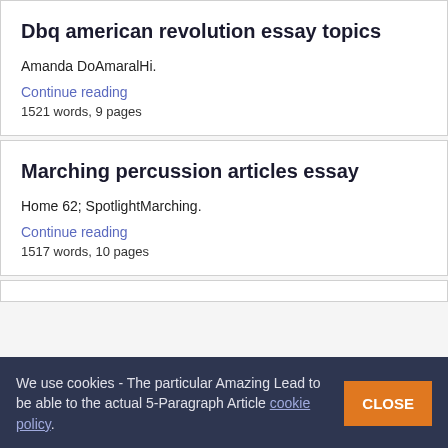Dbq american revolution essay topics
Amanda DoAmaralHi.
Continue reading
1521 words, 9 pages
Marching percussion articles essay
Home 62; SpotlightMarching.
Continue reading
1517 words, 10 pages
We use cookies - The particular Amazing Lead to be able to the actual 5-Paragraph Article cookie policy.
CLOSE